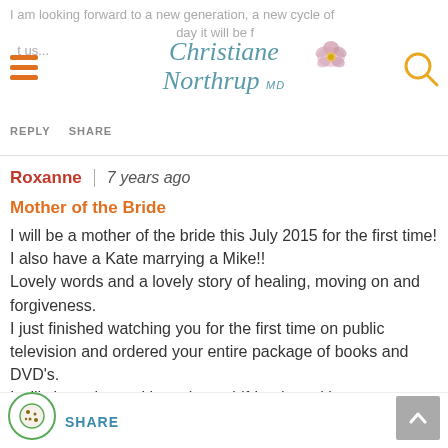I am looking forward to a new generation, a new cycle of beginning in o... What a... day it will be f... t us...
[Figure (logo): Christiane Northrup MD logo with decorative flower/lotus icon in teal script]
REPLY   SHARE
Roxanne  |  7 years ago
Mother of the Bride
I will be a mother of the bride this July 2015 for the first time! I also have a Kate marrying a Mike!!
Lovely words and a lovely story of healing, moving on and forgiveness.
I just finished watching you for the first time on public television and ordered your entire package of books and DVD's.
I will share them with my best girlfriends and hope my biological age is lower by the wedding and want to enjoy every moment. I have always believed it is just a number!
SHARE